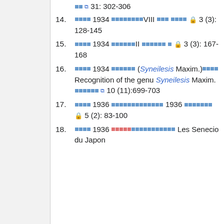[partial] □□ ⧉ 31: 302-306
14. □□□□ 1934 □□□□□□□□VIII □□□ □□□□ 🔒 3 (3): 128-145
15. □□□□ 1934 □□□□□□II □□□□□□ □ 🔒 3 (3): 167-168
16. □□□□ 1934 □□□□□□ (Syneilesis Maxim.)□□□□ Recognition of the genu Syneilesis Maxim. □□□□□□ ⧉ 10 (11):699-703
17. □□□□ 1936 □□□□□□□□□□□□□ 1936 □□□□□□□ 🔒 5 (2): 83-100
18. □□□□ 1936 □□□□□□□□□□□□□□□□ Les Senecio du Japon